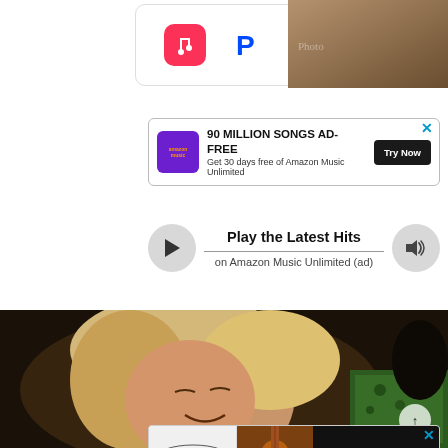[Figure (screenshot): Music streaming service icons: Apple Music (red), Pandora (blue P), Qobuz (black vinyl/magnifier)]
[Figure (photo): Partial photo thumbnail top right, warm-toned]
[Figure (screenshot): Amazon Music ad banner: '90 MILLION SONGS AD-FREE, Get 30 days free of Amazon Music Unlimited' with Try Now button]
Play the Latest Hits
on Amazon Music Unlimited (ad)
[Figure (photo): Black and white or darkly toned photo of a woman with wavy blonde hair smiling, wearing green patterned top]
[Figure (screenshot): Martin & Co guitar ad: Est. 1833, View New Models, NEW OPTIONS. NO LIMITS.]